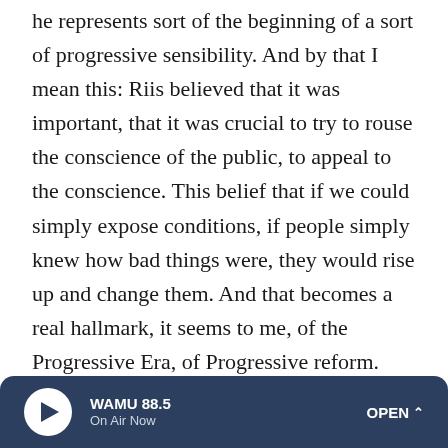he represents sort of the beginning of a sort of progressive sensibility. And by that I mean this: Riis believed that it was important, that it was crucial to try to rouse the conscience of the public, to appeal to the conscience. This belief that if we could simply expose conditions, if people simply knew how bad things were, they would rise up and change them. And that becomes a real hallmark, it seems to me, of the Progressive Era, of Progressive reform. And the photograph, really, was the way that, you know, he tried to do that, along with the journalism.
SIEGEL: And along with that chemical reaction that made the obscure lives of the poor brightly visible to rest of the country.
WAMU 88.5 On Air Now OPEN